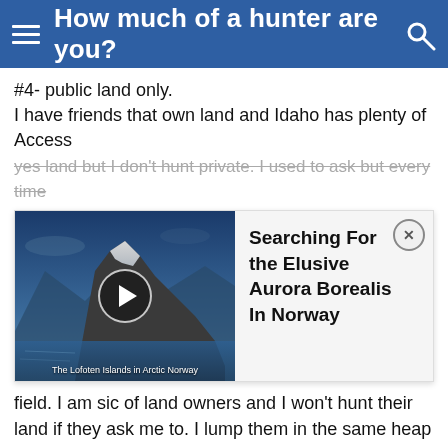How much of a hunter are you?
#4- public land only.
I have friends that own land and Idaho has plenty of Access
yes land but I don't hunt private. I used to ask but every time
[Figure (screenshot): Video thumbnail showing Arctic Norway mountains/fjords with play button, titled 'Searching For the Elusive Aurora Borealis In Norway'. Caption: 'The Lofoten Islands in Arctic Norway']
field. I am sic of land owners and I won't hunt their land if they ask me to. I lump them in the same heap that they lump me into. I haven't hunted private land for at least 10 years and I don't want to. Not even for the biggest buck or bull in the world. Ron
Reply
#5